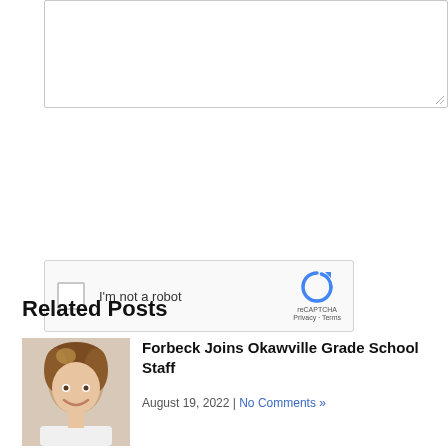[Figure (screenshot): Text area input box with resize handle at bottom-right corner]
[Figure (screenshot): reCAPTCHA widget with checkbox labeled 'I'm not a robot' and reCAPTCHA logo with Privacy and Terms links]
Submit Comment
Related Posts
[Figure (photo): Photo of a woman with short brown and blonde hair, smiling, wearing a white shirt]
Forbeck Joins Okawville Grade School Staff
August 19, 2022 | No Comments »